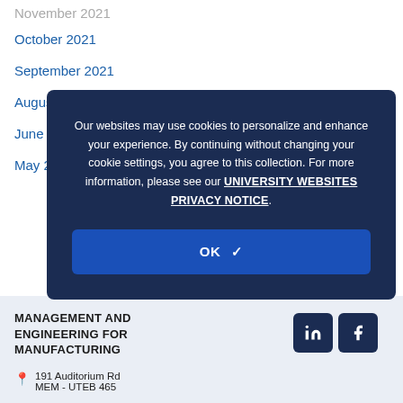November 2021
October 2021
September 2021
August 2021
June 2021
May 2021
MANAGEMENT AND ENGINEERING FOR MANUFACTURING
191 Auditorium Rd
MEM - UTEB 465
[Figure (screenshot): Cookie consent overlay with dark navy background. Text reads: 'Our websites may use cookies to personalize and enhance your experience. By continuing without changing your cookie settings, you agree to this collection. For more information, please see our UNIVERSITY WEBSITES PRIVACY NOTICE.' An OK button with a checkmark is shown below.]